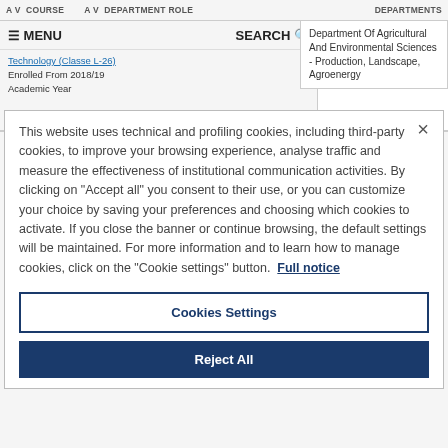A V COURSE   A V DEPARTMENT ROLE   DEPARTMENTS
≡ MENU   SEARCH Q
Technology (Classe L-26)
Enrolled From 2018/19 Academic Year
Department Of Agricultural And Environmental Sciences - Production, Landscape, Agroenergy
This website uses technical and profiling cookies, including third-party cookies, to improve your browsing experience, analyse traffic and measure the effectiveness of institutional communication activities. By clicking on "Accept all" you consent to their use, or you can customize your choice by saving your preferences and choosing which cookies to activate. If you close the banner or continue browsing, the default settings will be maintained. For more information and to learn how to manage cookies, click on the "Cookie settings" button. Full notice
Cookies Settings
Reject All